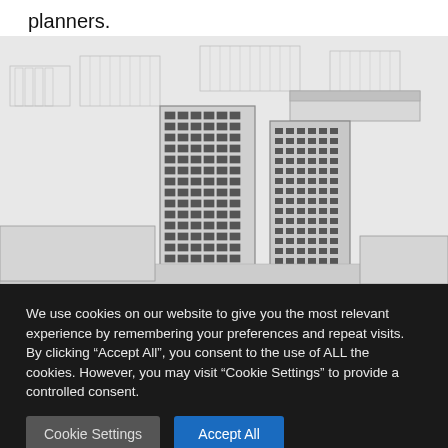planners.
[Figure (illustration): 3D architectural rendering of a modern multi-story office building complex shown in white/grey wireframe-like style, aerial perspective view with surrounding urban context]
We use cookies on our website to give you the most relevant experience by remembering your preferences and repeat visits. By clicking “Accept All”, you consent to the use of ALL the cookies. However, you may visit "Cookie Settings" to provide a controlled consent.
Cookie Settings
Accept All